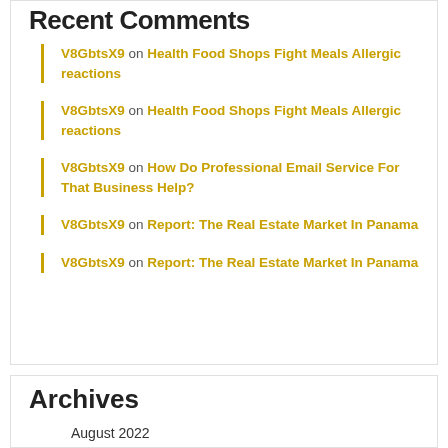Recent Comments
V8GbtsX9 on Health Food Shops Fight Meals Allergic reactions
V8GbtsX9 on Health Food Shops Fight Meals Allergic reactions
V8GbtsX9 on How Do Professional Email Service For That Business Help?
V8GbtsX9 on Report: The Real Estate Market In Panama
V8GbtsX9 on Report: The Real Estate Market In Panama
Archives
August 2022